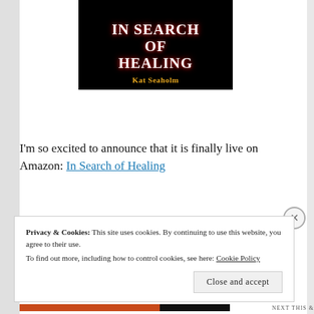[Figure (illustration): Book cover for 'In Search of Healing' by Kat Seaholm. Black background with title text in white serif font and author name in gold/yellow.]
I'm so excited to announce that it is finally live on Amazon: In Search of Healing
Privacy & Cookies: This site uses cookies. By continuing to use this website, you agree to their use.
To find out more, including how to control cookies, see here: Cookie Policy
Close and accept